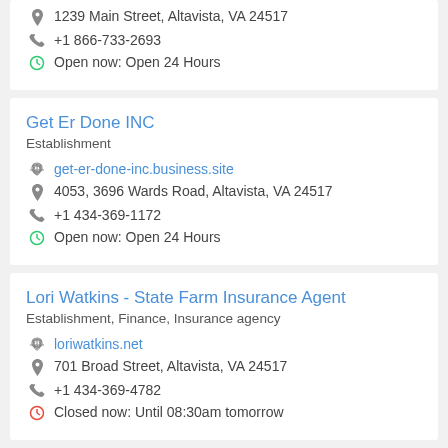1239 Main Street, Altavista, VA 24517
+1 866-733-2693
Open now: Open 24 Hours
Get Er Done INC
Establishment
get-er-done-inc.business.site
4053, 3696 Wards Road, Altavista, VA 24517
+1 434-369-1172
Open now: Open 24 Hours
Lori Watkins - State Farm Insurance Agent
Establishment, Finance, Insurance agency
loriwatkins.net
701 Broad Street, Altavista, VA 24517
+1 434-369-4782
Closed now: Until 08:30am tomorrow